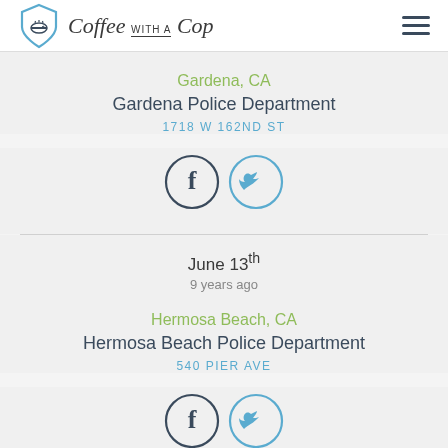Coffee with a Cop
Gardena, CA
Gardena Police Department
1718 W 162ND ST
[Figure (illustration): Facebook and Twitter social media icon circles for Gardena Police Department]
June 13th
9 years ago
Hermosa Beach, CA
Hermosa Beach Police Department
540 PIER AVE
[Figure (illustration): Facebook and Twitter social media icon circles for Hermosa Beach Police Department]